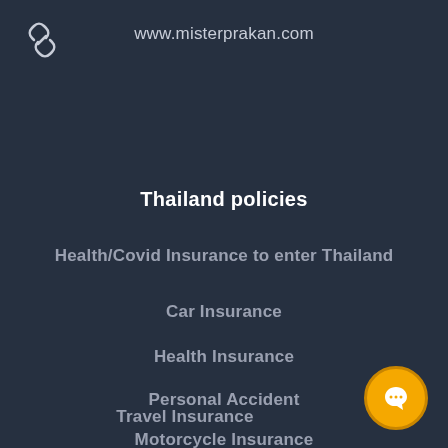www.misterprakan.com
Thailand policies
Health/Covid Insurance to enter Thailand
Car Insurance
Health Insurance
Personal Accident
Travel Insurance
Motorcycle Insurance